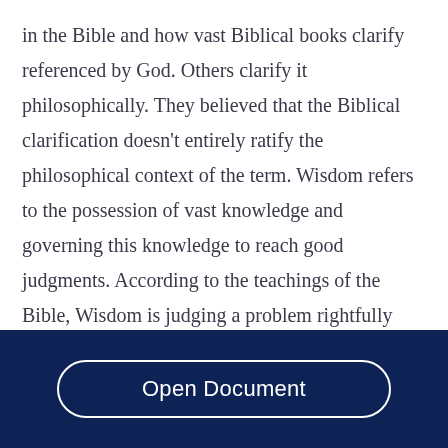in the Bible and how vast Biblical books clarify referenced by God. Others clarify it philosophically. They believed that the Biblical clarification doesn't entirely ratify the philosophical context of the term. Wisdom refers to the possession of vast knowledge and governing this knowledge to reach good judgments. According to the teachings of the Bible, Wisdom is judging a problem rightfully and carefully discovering the best way, using a knowledgeable
Open Document